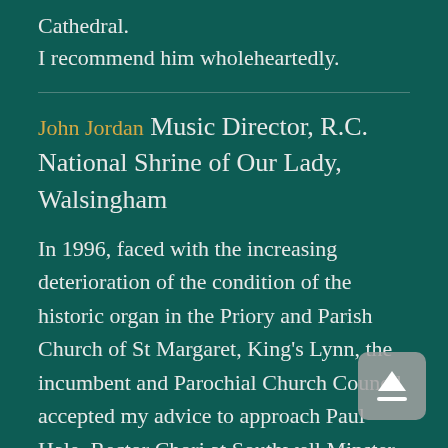Cathedral.
I recommend him wholeheartedly.
John Jordan Music Director, R.C. National Shrine of Our Lady, Walsingham
In 1996, faced with the increasing deterioration of the condition of the historic organ in the Priory and Parish Church of St Margaret, King's Lynn, the incumbent and Parochial Church Council accepted my advice to approach Paul Hale, Rector Chori at Southwell Minster, to act as consultant and adviser in the major enterprise of restoring our famous instrument to a state of sound reliability.